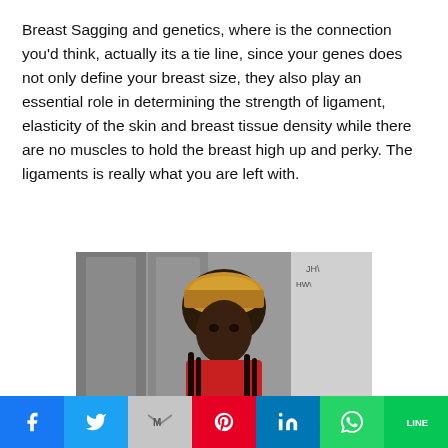Breast Sagging and genetics, where is the connection you'd think, actually its a tie line, since your genes does not only define your breast size, they also play an essential role in determining the strength of ligament, elasticity of the skin and breast tissue density while there are no muscles to hold the breast high up and perky. The ligaments is really what you are left with.
[Figure (photo): A woman wearing a colorful head wrap and red top, photographed outdoors near a wall with slate/grey panels.]
Facebook | Twitter | Gmail | Pinterest | LinkedIn | WhatsApp | LINE